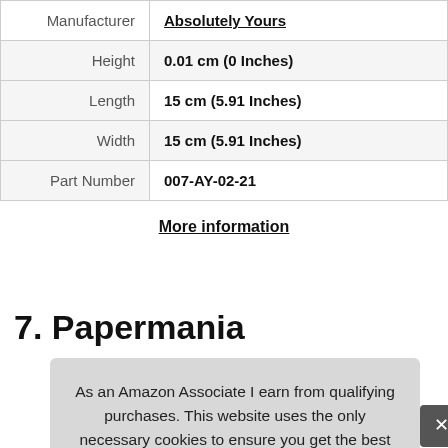| Manufacturer | Absolutely Yours |
| Height | 0.01 cm (0 Inches) |
| Length | 15 cm (5.91 Inches) |
| Width | 15 cm (5.91 Inches) |
| Part Number | 007-AY-02-21 |
More information
7. Papermania
As an Amazon Associate I earn from qualifying purchases. This website uses the only necessary cookies to ensure you get the best experience on our website. More information